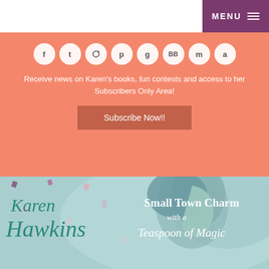MENU
[Figure (other): Social media icons row: Facebook, Twitter, Instagram, Pinterest, Goodreads, BookBub, meetup/m, Amazon]
Receive news on Karen's books, fun contests and access to her Subscribers Only Area!
Subscribe Now!!
[Figure (illustration): Book banner for Karen Hawkins showing a watercolor woman silhouette in teal, with author name 'Karen Hawkins' in teal script on the left and tagline 'Small Town Charm with a Teaspoon of Magic' on the right in white serif text, on a teal/turquoise watercolor background with confetti]